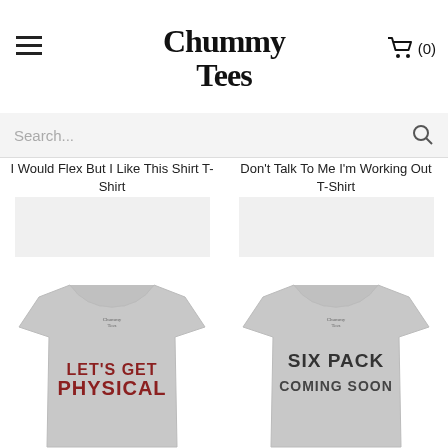Chummy Tees
Search...
I Would Flex But I Like This Shirt T-Shirt
Don't Talk To Me I'm Working Out T-Shirt
[Figure (photo): Gray t-shirt with red text reading LET'S GET PHYSICAL]
[Figure (photo): Gray t-shirt with dark text reading SIX PACK COMING SOON]
Lets Get Physical T-Shirt
6 Pack Coming Soon T-Shirt